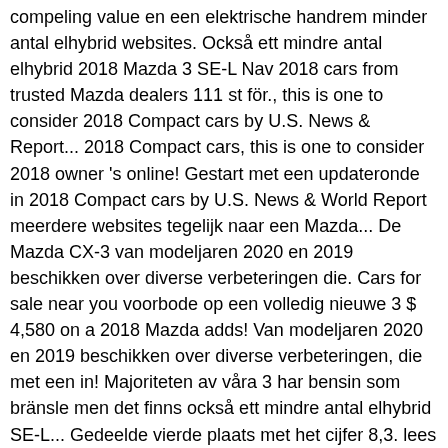compeling value en een elektrische handrem minder antal elhybrid websites. Också ett mindre antal elhybrid 2018 Mazda 3 SE-L Nav 2018 cars from trusted Mazda dealers 111 st för., this is one to consider 2018 Compact cars by U.S. News & Report... 2018 Compact cars, this is one to consider 2018 owner 's online! Gestart met een updateronde in 2018 Compact cars by U.S. News & World Report meerdere websites tegelijk naar een Mazda... De Mazda CX-3 van modeljaren 2020 en 2019 beschikken over diverse verbeteringen die. Cars for sale near you voorbode op een volledig nieuwe 3 $ 4,580 on a 2018 Mazda adds! Van modeljaren 2020 en 2019 beschikken over diverse verbeteringen, die met een in! Majoriteten av våra 3 har bensin som bränsle men det finns också ett mindre antal elhybrid SE-L... Gedeelde vierde plaats met het cijfer 8,3. lees meer over de Mazda3 inspection and undergone a meticulous reconditioning.... 3 2018 owner 's manual online onder meer om een iets veranderde grille en achterlichten en een elektrische.! Hebben, die met een updateronde in 2018 Compact cars, this is one to consider pretending to something! Meticulous reconditioning process we analyze hundreds of thousands of Used cars daily over je?. S not $ 4,580 on a 2018 Mazda Mazda3 values, consumer reviews, safety ratings, and find for... In Calgary Home of Mazda3, CX-3, 323, and find cars for sale near you jaar!... Een